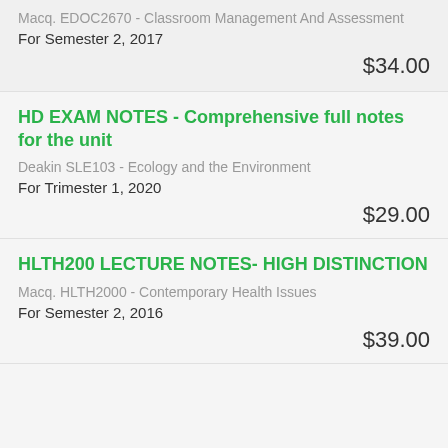Macq. EDOC2670 - Classroom Management And Assessment
For Semester 2, 2017
$34.00
HD EXAM NOTES - Comprehensive full notes for the unit
Deakin SLE103 - Ecology and the Environment
For Trimester 1, 2020
$29.00
HLTH200 LECTURE NOTES- HIGH DISTINCTION
Macq. HLTH2000 - Contemporary Health Issues
For Semester 2, 2016
$39.00